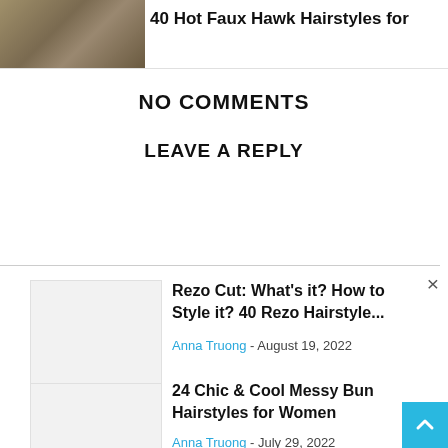[Figure (photo): Thumbnail image of a hairstyle article at the top of the page]
40 Hot Faux Hawk Hairstyles for
Rezo Cut: What's it? How to Style it? 40 Rezo Hairstyle...
Anna Truong - August 19, 2022
24 Chic & Cool Messy Bun Hairstyles for Women
Anna Truong - July 29, 2022
NO COMMENTS
LEAVE A REPLY